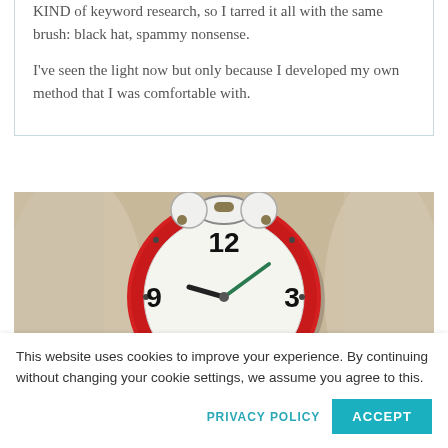KIND of keyword research, so I tarred it all with the same brush: black hat, spammy nonsense.

I've seen the light now but only because I developed my own method that I was comfortable with.
[Figure (photo): A red and white classic alarm clock photographed close-up against a light blurred background, showing 12, 3, 6, 9 numerals on the clock face.]
This website uses cookies to improve your experience. By continuing without changing your cookie settings, we assume you agree to this.